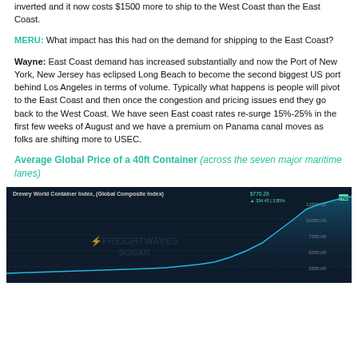inverted and it now costs $1500 more to ship to the West Coast than the East Coast.
MERU: What impact has this had on the demand for shipping to the East Coast?
Wayne: East Coast demand has increased substantially and now the Port of New York, New Jersey has eclipsed Long Beach to become the second biggest US port behind Los Angeles in terms of volume. Typically what happens is people will pivot to the East Coast and then once the congestion and pricing issues end they go back to the West Coast. We have seen East coast rates re-surge 15%-25% in the first few weeks of August and we have a premium on Panama canal moves as folks are shifting more to USEC.
Average Global Price of a 40ft Container (across the seven major maritime lanes)
[Figure (continuous-plot): Drewry World Container Index (Global Composite Index) chart showing a rising trend line reaching approximately $10,000-$12,000 range, displayed on a dark background with FreightWaves Sonar watermark. The chart shows a sharp upward curve toward the right side.]